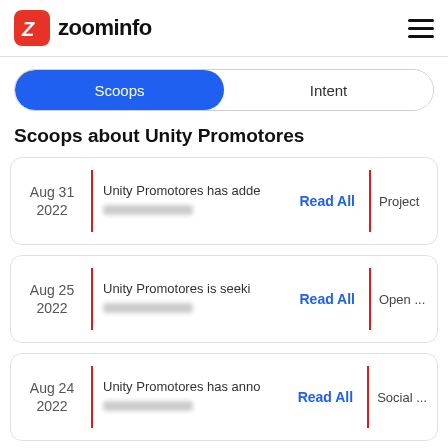zoominfo
Scoops | Intent
Scoops about Unity Promotores
Aug 31 2022 | Unity Promotores has adde [redacted] | Read All | Project
Aug 25 2022 | Unity Promotores is seeki [redacted] | Read All | Open ...
Aug 24 2022 | Unity Promotores has anno [redacted] | Read All | Social ...